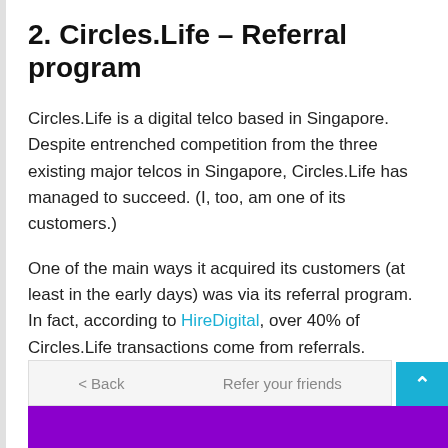2. Circles.Life – Referral program
Circles.Life is a digital telco based in Singapore. Despite entrenched competition from the three existing major telcos in Singapore, Circles.Life has managed to succeed. (I, too, am one of its customers.)
One of the main ways it acquired its customers (at least in the early days) was via its referral program. In fact, according to HireDigital, over 40% of Circles.Life transactions come from referrals.
[Figure (screenshot): Navigation bar showing '< Back' and 'Refer your friends' options with a teal up-arrow button on the right, and a purple bar at the bottom]